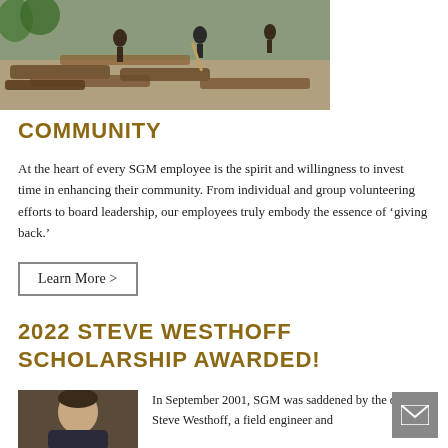[Figure (photo): Workers or volunteers working on a construction/railroad tie project outdoors, surrounded by logs and gravel.]
COMMUNITY
At the heart of every SGM employee is the spirit and willingness to invest time in enhancing their community. From individual and group volunteering efforts to board leadership, our employees truly embody the essence of ‘giving back.’
Learn More >
2022 STEVE WESTHOFF SCHOLARSHIP AWARDED!
[Figure (photo): Portrait photo of a man, likely Steve Westhoff.]
In September 2001, SGM was saddened by the death of Steve Westhoff, a field engineer and